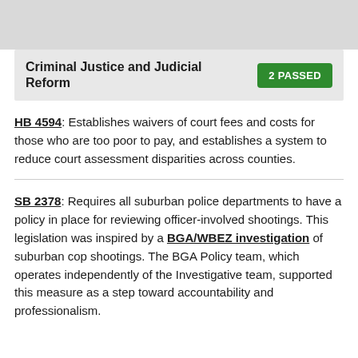Criminal Justice and Judicial Reform — 2 PASSED
HB 4594: Establishes waivers of court fees and costs for those who are too poor to pay, and establishes a system to reduce court assessment disparities across counties.
SB 2378: Requires all suburban police departments to have a policy in place for reviewing officer-involved shootings. This legislation was inspired by a BGA/WBEZ investigation of suburban cop shootings. The BGA Policy team, which operates independently of the Investigative team, supported this measure as a step toward accountability and professionalism.